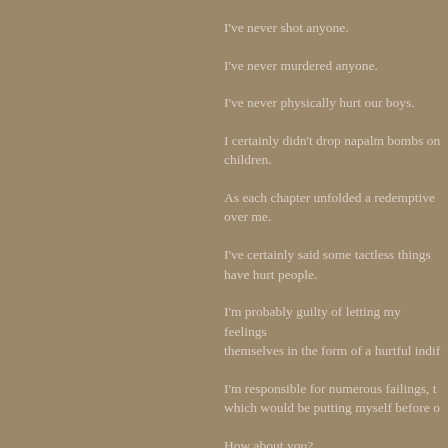I've never shot anyone.
I've never murdered anyone.
I've never physically hurt our boys.
I certainly didn't drop napalm bombs on children.
As each chapter unfolded a redemptive over me.
I've certainly said some tactless things have hurt people.
I'm probably guilty of letting my feelings themselves in the form of a hurtful indif
I'm responsible for numerous failings, t which would be putting myself before o
How about you?